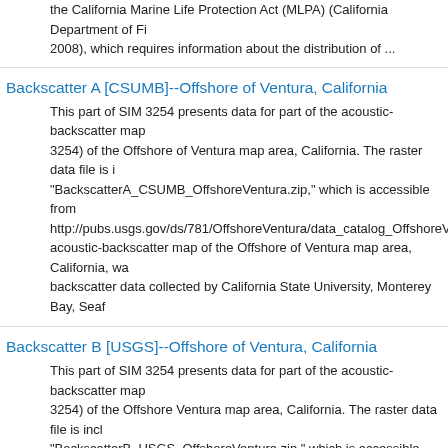the California Marine Life Protection Act (MLPA) (California Department of Fish and Game 2008), which requires information about the distribution of ...
Backscatter A [CSUMB]--Offshore of Ventura, California
This part of SIM 3254 presents data for part of the acoustic-backscatter map (Sheet 3, SIM 3254) of the Offshore of Ventura map area, California. The raster data file is included in "BackscatterA_CSUMB_OffshoreVentura.zip," which is accessible from http://pubs.usgs.gov/ds/781/OffshoreVentura/data_catalog_OffshoreVentura.h... acoustic-backscatter map of the Offshore of Ventura map area, California, wa... backscatter data collected by California State University, Monterey Bay, Seaf...
Backscatter B [USGS]--Offshore of Ventura, California
This part of SIM 3254 presents data for part of the acoustic-backscatter map (Sheet 3, SIM 3254) of the Offshore Ventura map area, California. The raster data file is incl... "BackscatterB_USGS_OffshoreVentura.zip," which is accessible from http://pubs.usgs.gov/ds/781/OffshoreVentura/data_catalog_OffshoreVentura.h... acoustic-backscatter map of the Offshore Ventura map area, California, was g... backscatter data collected by California State University, Monterey Bay, Seaf...
Bathymetry Hillshade--Offshore of Ventura, California
This part of SIM 3254 presents data for the bathymetry and shaded-relief ma... 2, SIM 3254) of the Offshore of Ventura map area, California. The raster data... bathymetry map is included in "Bathymetry_OffshoreVentura.zip." The raster... shaded-relief map is included in "BathymetryHS_OffshoreVentura.zip." Both a... from http://pubs.usgs.gov/ds/781/OffshoreVentura/data_catalog_OffshoreVer... bathymetry and shaded-relief maps of the Offshore of ...